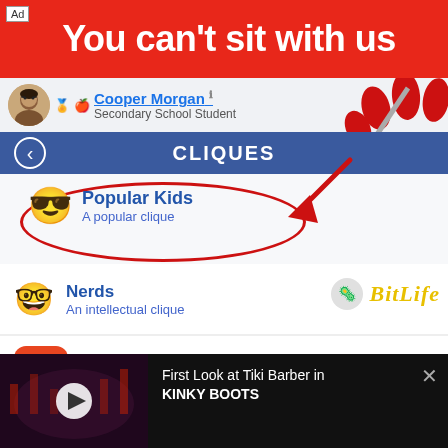[Figure (screenshot): Advertisement screenshot showing BitLife game app. Top red banner reads 'You can't sit with us'. Below shows a Facebook-style profile for Cooper Morgan (Secondary School Student). A blue bar shows 'CLIQUES'. Popular Kids clique is highlighted with a red oval and arrow. Nerds clique listed below. BitLife logo visible. Bottom section shows BitLife app ad and a video ad for 'First Look at Tiki Barber in KINKY BOOTS'.]